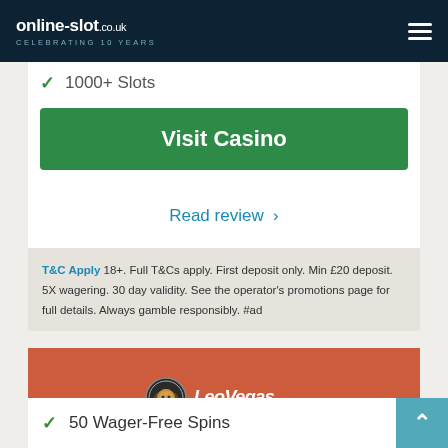online-slot.co.uk CELEBRATING 10 YEARS
1000+ Slots
Visit Casino
Read review ›
T&C Apply 18+. Full T&Cs apply. First deposit only. Min £20 deposit. 5X wagering. 30 day validity. See the operator's promotions page for full details. Always gamble responsibly. #ad
[Figure (logo): LeoVegas casino logo on orange/terracotta background — lion head icon with LeoVegas text]
50 Wager-Free Spins